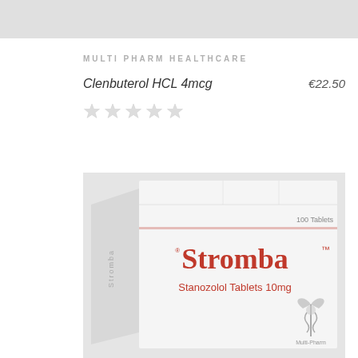MULTI PHARM HEALTHCARE
Clenbuterol HCL 4mcg   €22.50
[Figure (photo): Product photo of Stromba (Stanozolol Tablets 10mg) by Multi-Pharm, 100 Tablets box, white packaging with red text and caduceus logo]
Stromba Stanozolol Tablets 10mg, 100 Tablets, Multi-Pharm